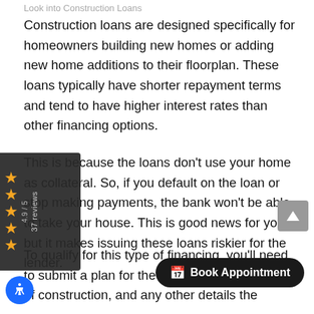Look into Construction Loans
Construction loans are designed specifically for homeowners building new homes or adding new home additions to their floorplan. These loans typically have shorter repayment terms and tend to have higher interest rates than other financing options.
This is because the loans don’t use your home as collateral. So, if you default on the loan or stop making payments, the bank won’t be able to take your house. This is good news for you, but it makes issuing these loans riskier for the lender.
To qualify for this type of financing, you’ll need to submit a plan for the project, the timeframe of construction, and any other details the